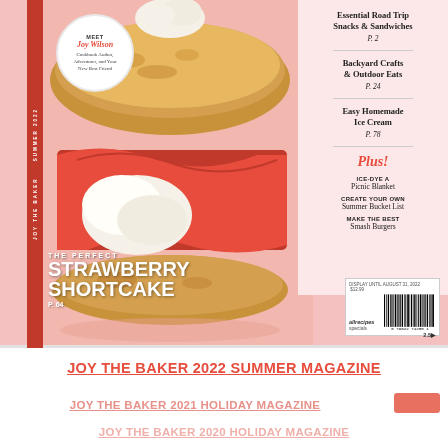[Figure (photo): Magazine cover of Joy the Baker 2022 Summer issue. Shows a strawberry shortcake with whipped cream and fresh strawberries on a pink background. Features a badge saying MEET Joy Wilson Cookbook Author Adventurer and Your New Best Friend. Right side lists features: Essential Road Trip Snacks & Sandwiches P.2, Backyard Crafts & Outdoor Eats P.24, Easy Homemade Ice Cream P.78, Plus! ICE-DYE A Picnic Blanket, CREATE YOUR OWN Summer Bucket List, MAKE THE BEST Smash Burgers. Bottom left shows THE PERFECT STRAWBERRY SHORTCAKE P.64. Bottom right has a barcode with allrecipes specials label.]
JOY THE BAKER 2022 SUMMER MAGAZINE
JOY THE BAKER 2021 HOLIDAY MAGAZINE
JOY THE BAKER 2020 HOLIDAY MAGAZINE